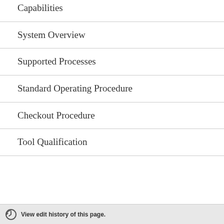Capabilities
System Overview
Supported Processes
Standard Operating Procedure
Checkout Procedure
Tool Qualification
View edit history of this page.